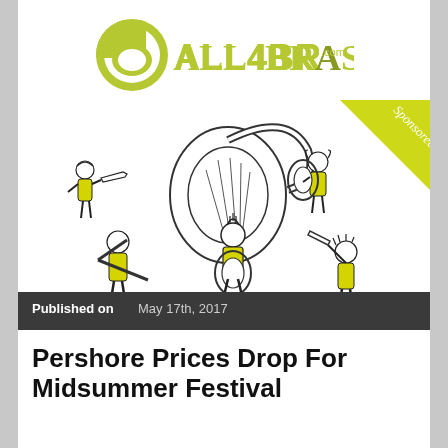[Figure (logo): All4Brass.com logo with yellow-green circle containing brass instrument silhouette and stylized text ALL4BRASS.com]
[Figure (illustration): Cartoon illustration of five brass band musicians in yellow uniforms playing various brass instruments including trumpet, tuba, and euphonium. A 'Sponsored' badge appears in the top-right corner.]
Published on May 17th, 2017
Pershore Prices Drop For Midsummer Festival